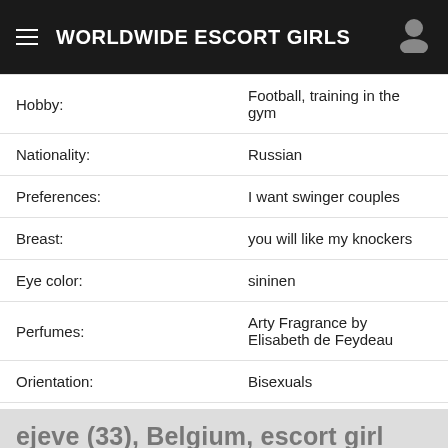WORLDWIDE ESCORT GIRLS
| Field | Value |
| --- | --- |
| Hobby: | Football, training in the gym |
| Nationality: | Russian |
| Preferences: | I want swinger couples |
| Breast: | you will like my knockers |
| Eye color: | sininen |
| Perfumes: | Arty Fragrance by Elisabeth de Feydeau |
| Orientation: | Bisexuals |
ejeve (33), Belgium, escort girl
| Time | Incall | Outcall |
| --- | --- | --- |
| Quick | 100 eur | 190 |